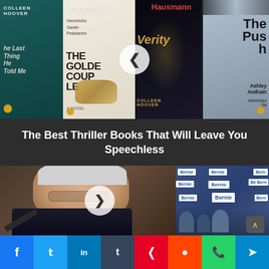[Figure (photo): Collage of thriller book covers including 'The Last Thing He Told Me', 'The Golden Couple', 'Verity' by Colleen Hoover, 'The Push' by Ashley Audrain, with a left-arrow navigation button overlay]
The Best Thriller Books That Will Leave You Speechless
[Figure (photo): Photo of Bernie Sanders speaking, with a crowd of Bernie supporters holding campaign signs in the background, with a right-arrow play button overlay]
Facebook share button
Twitter share button
LinkedIn share button
Tumblr share button
Pinterest share button
Reddit share button
WhatsApp share button
Telegram share button